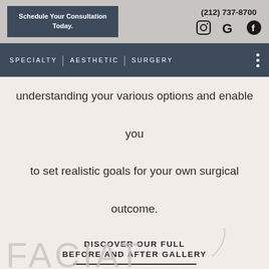Schedule Your Consultation Today. | (212) 737-8700
SPECIALTY | AESTHETIC | SURGERY
understanding your various options and enable you to set realistic goals for your own surgical outcome.
DISCOVER OUR FULL BEFORE AND AFTER GALLERY
[Figure (logo): Partial decorative logo text at bottom of page]